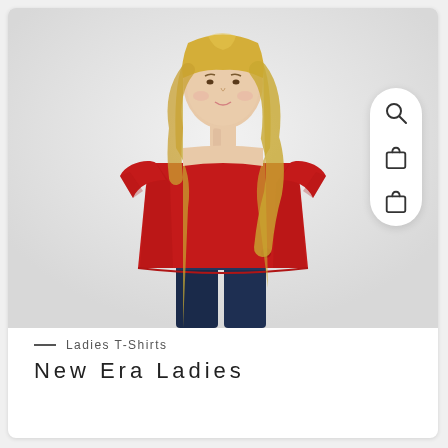[Figure (photo): A woman wearing a red crew-neck short-sleeve t-shirt and dark jeans, shown from head to below hips against a light grey background. The shirt is a solid red ladies t-shirt.]
— Ladies T-Shirts
New Era Ladies